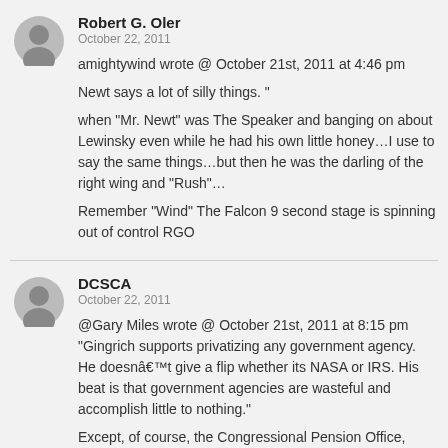Robert G. Oler
October 22, 2011
amightywind wrote @ October 21st, 2011 at 4:46 pm

Newt says a lot of silly things. "

when "Mr. Newt" was The Speaker and banging on about Lewinsky even while he had his own little honey...I use to say the same things...but then he was the darling of the right wing and "Rush"...

Remember "Wind" The Falcon 9 second stage is spinning out of control RGO
DCSCA
October 22, 2011
@Gary Miles wrote @ October 21st, 2011 at 8:15 pm
"Gingrich supports privatizing any government agency. He doesnâ€™t give a flip whether its NASA or IRS. His beat is that government agencies are wasteful and accomplish little to nothing."

Except, of course, the Congressional Pension Office, which keeps his checks going out on borrowed monies.